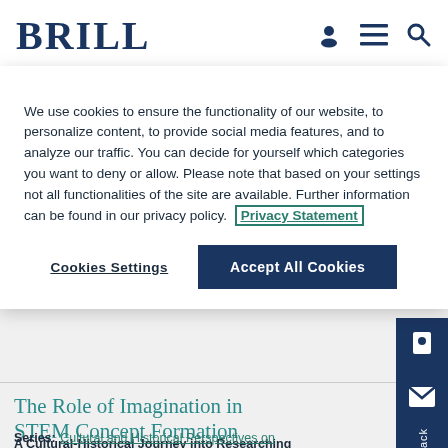BRILL
We use cookies to ensure the functionality of our website, to personalize content, to provide social media features, and to analyze our traffic. You can decide for yourself which categories you want to deny or allow. Please note that based on your settings not all functionalities of the site are available. Further information can be found in our privacy policy. Privacy Statement
Cookies Settings | Accept All Cookies
The Role of Imagination in STEM Concept Formation
A Cultural-Historical Journey into Researching Play-Based Settings
Series: Cultural and Historical Perspectives on